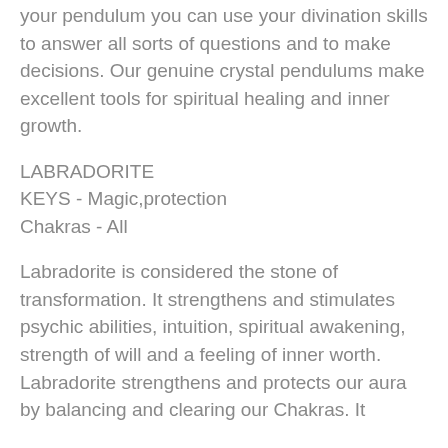your pendulum you can use your divination skills to answer all sorts of questions and to make decisions. Our genuine crystal pendulums make excellent tools for spiritual healing and inner growth.
LABRADORITE
KEYS - Magic,protection
Chakras - All
Labradorite is considered the stone of transformation. It strengthens and stimulates psychic abilities, intuition, spiritual awakening, strength of will and a feeling of inner worth. Labradorite strengthens and protects our aura by balancing and clearing our Chakras. It